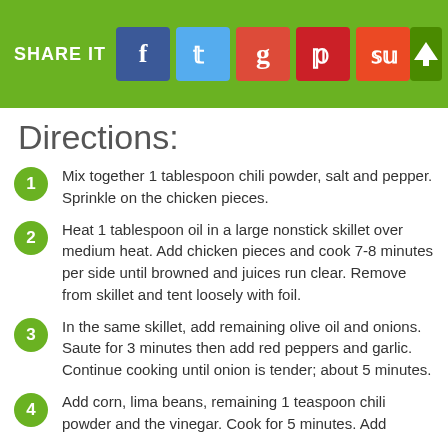SHARE IT
Directions:
Mix together 1 tablespoon chili powder, salt and pepper. Sprinkle on the chicken pieces.
Heat 1 tablespoon oil in a large nonstick skillet over medium heat. Add chicken pieces and cook 7-8 minutes per side until browned and juices run clear. Remove from skillet and tent loosely with foil.
In the same skillet, add remaining olive oil and onions. Saute for 3 minutes then add red peppers and garlic. Continue cooking until onion is tender; about 5 minutes.
Add corn, lima beans, remaining 1 teaspoon chili powder and the vinegar. Cook for 5 minutes. Add